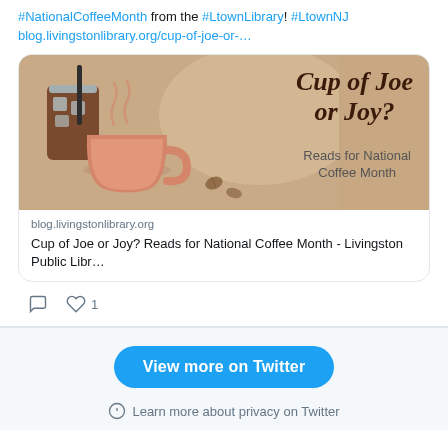#NationalCoffeeMonth from the #LtownLibrary! #LtownNJ blog.livingstonlibrary.org/cup-of-joe-or-…
[Figure (illustration): Card with illustration showing an iced coffee glass and a pink hot coffee mug with text 'Cup of Joe or Joy? Reads for National Coffee Month' on a warm beige background with coffee beans]
blog.livingstonlibrary.org
Cup of Joe or Joy? Reads for National Coffee Month - Livingston Public Libr…
1 like
View more on Twitter
Learn more about privacy on Twitter